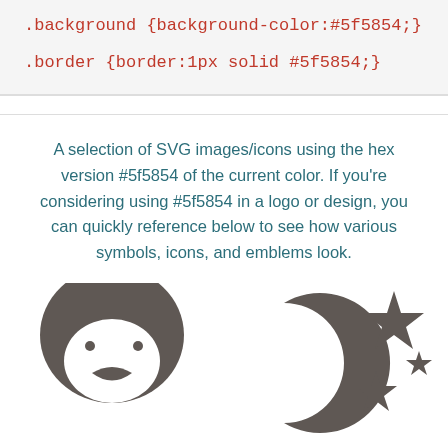.background {background-color:#5f5854;}

.border {border:1px solid #5f5854;}
A selection of SVG images/icons using the hex version #5f5854 of the current color. If you're considering using #5f5854 in a logo or design, you can quickly reference below to see how various symbols, icons, and emblems look.
[Figure (illustration): Two SVG icons in color #5f5854: left icon shows a penguin/bird face, right icon shows a crescent moon with stars]